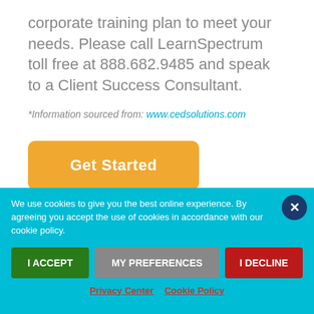corporate training plan to meet your needs. Please call LearnSpectrum toll free at 888.682.9485 and speak to a Client Success Consultant.
*Information sourced from: www.cedsolutions.com
Get Started
We use cookies to give you the best online experience. By agreeing you accept the use of cookies in accordance with our cookie policy.
I ACCEPT
MY PREFERENCES
I DECLINE
Privacy Center  Cookie Policy